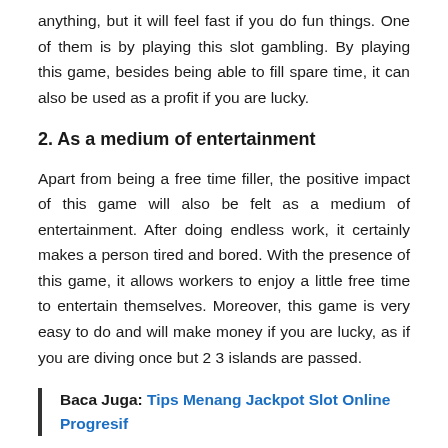anything, but it will feel fast if you do fun things. One of them is by playing this slot gambling. By playing this game, besides being able to fill spare time, it can also be used as a profit if you are lucky.
2. As a medium of entertainment
Apart from being a free time filler, the positive impact of this game will also be felt as a medium of entertainment. After doing endless work, it certainly makes a person tired and bored. With the presence of this game, it allows workers to enjoy a little free time to entertain themselves. Moreover, this game is very easy to do and will make money if you are lucky, as if you are diving once but 2 3 islands are passed.
Baca Juga: Tips Menang Jackpot Slot Online Progresif